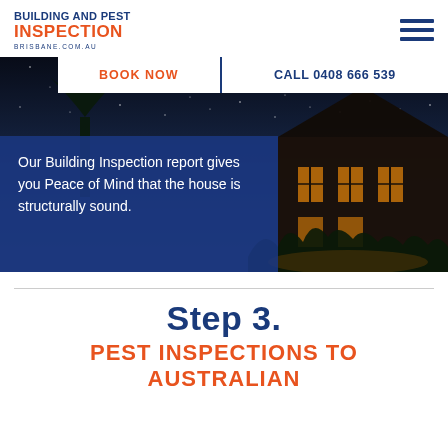[Figure (logo): Building and Pest Inspection Brisbane logo with orange INSPECTION text and navy blue BUILDING AND PEST text above, brisbane.com.au URL below]
[Figure (other): Hamburger menu icon — three horizontal navy blue lines]
BOOK NOW
CALL 0408 666 539
[Figure (photo): Night sky photo with stars, tree silhouette on left, illuminated house/building on the right, with a dark blue semi-transparent overlay on the lower left containing white text]
Our Building Inspection report gives you Peace of Mind that the house is structurally sound.
Step 3.
PEST INSPECTIONS TO AUSTRALIAN